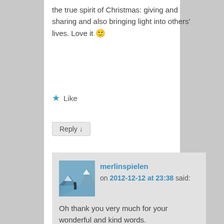the true spirit of Christmas: giving and sharing and also bringing light into others' lives. Love it 🙂
★ Like
Reply ↓
merlinspielen on 2012-12-12 at 23:38 said:
Oh thank you very much for your wonderful and kind words.
★ Like
Reply ↓